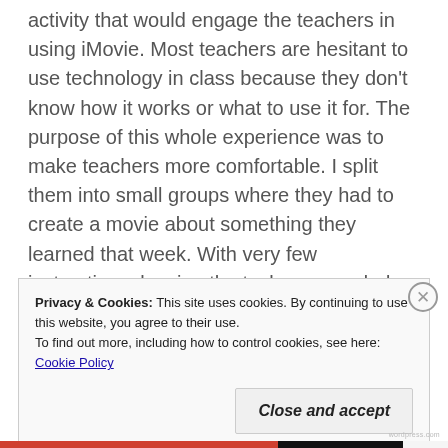activity that would engage the teachers in using iMovie.  Most teachers are hesitant to use technology in class because they don't know how it works or what to use it for.  The purpose of this whole experience was to make teachers more comfortable.  I split them into small groups where they had to create a movie about something they learned that week.  With very few instructions, leaving the task open ended and with room for creativity teachers started to explore iMovie.  At first there was hesitation and they asked a lot of questions, but I
Privacy & Cookies: This site uses cookies. By continuing to use this website, you agree to their use.
To find out more, including how to control cookies, see here: Cookie Policy
Close and accept